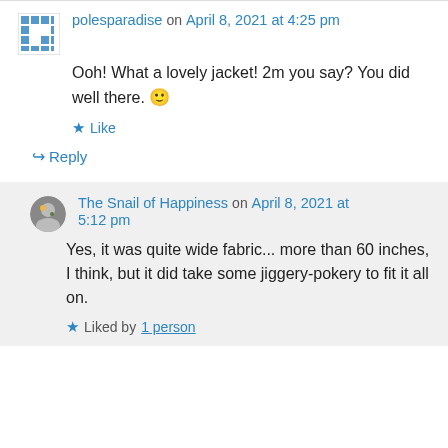polesparadise on April 8, 2021 at 4:25 pm
Ooh! What a lovely jacket! 2m you say? You did well there. 🙂
Like
↪ Reply
The Snail of Happiness on April 8, 2021 at 5:12 pm
Yes, it was quite wide fabric... more than 60 inches, I think, but it did take some jiggery-pokery to fit it all on.
Liked by 1 person